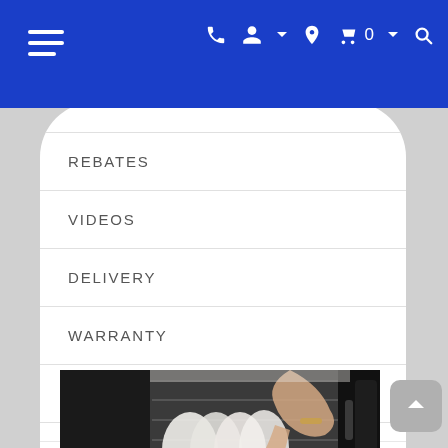Navigation header with hamburger menu and icons: phone, user, location, cart (0), search
REBATES
VIDEOS
DELIVERY
WARRANTY
DISCLAIMER
[Figure (photo): Person loading or unloading a dishwasher, hands visible placing white dishes into the appliance. Dark dishwasher interior visible.]